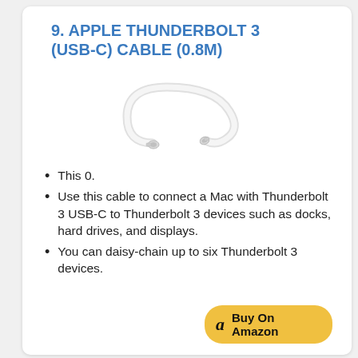9. APPLE THUNDERBOLT 3 (USB-C) CABLE (0.8M)
[Figure (photo): White Apple Thunderbolt 3 USB-C cable coiled in a loop, shown on white background]
This 0.
Use this cable to connect a Mac with Thunderbolt 3 USB-C to Thunderbolt 3 devices such as docks, hard drives, and displays.
You can daisy-chain up to six Thunderbolt 3 devices.
Buy On Amazon